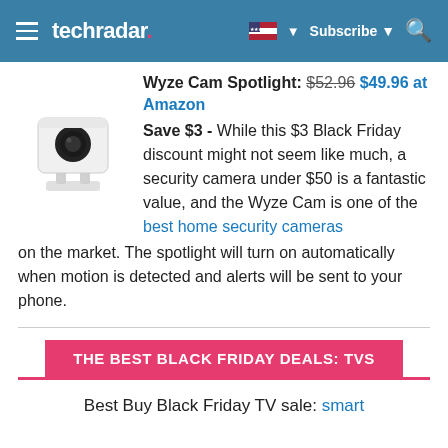techradar — navigation bar with hamburger menu, logo, flag/subscribe/search
Wyze Cam Spotlight: $52.96 $49.96 at Amazon
[Figure (photo): Wyze Cam Spotlight product photo — small white security camera with stand]
Save $3 - While this $3 Black Friday discount might not seem like much, a security camera under $50 is a fantastic value, and the Wyze Cam is one of the best home security cameras on the market. The spotlight will turn on automatically when motion is detected and alerts will be sent to your phone.
THE BEST BLACK FRIDAY DEALS: TVS
Best Buy Black Friday TV sale: smart